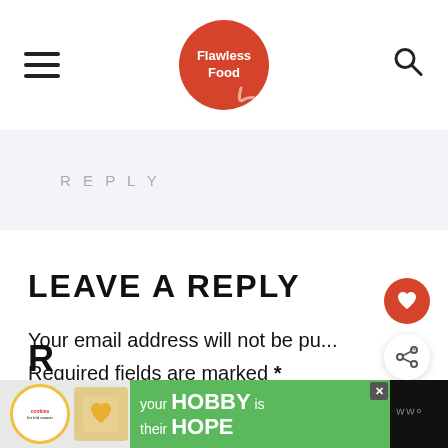Flawless Food
REPLY
LEAVE A REPLY
Your email address will not be pu...
Required fields are marked *
WHAT'S NEXT → Pressure Cooker...
[Figure (advertisement): Cookies for kid cancer charity advertisement with 'your HOBBY is their HOPE' text on green background]
R